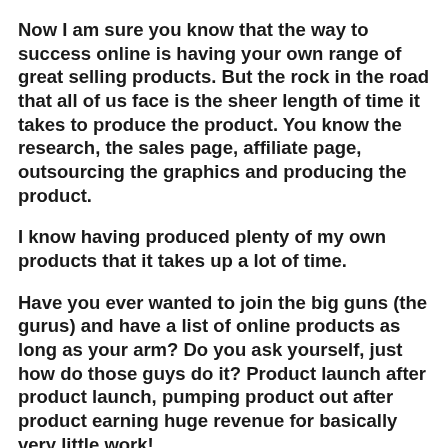Now I am sure you know that the way to success online is having your own range of great selling products. But the rock in the road that all of us face is the sheer length of time it takes to produce the product. You know the research, the sales page, affiliate page, outsourcing the graphics and producing the product.
I know having produced plenty of my own products that it takes up a lot of time.
Have you ever wanted to join the big guns (the gurus) and have a list of online products as long as your arm? Do you ask yourself, just how do those guys do it? Product launch after product launch, pumping product out after product earning huge revenue for basically very little work!
That’s the online lifestyle we all want to have, right?